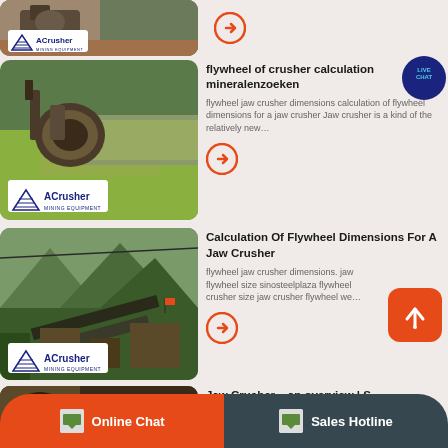[Figure (photo): ACrusher mining equipment photo - top partial row showing crusher machinery with ACrusher Mining Equipment logo]
[Figure (illustration): Orange circle arrow button]
[Figure (photo): ACrusher mining equipment photo - crusher with water/river in background, ACrusher Mining Equipment logo overlay]
flywheel of crusher calculation mineralenzoeken
flywheel jaw crusher dimensions calculation of flywheel dimensions for a jaw crusher Jaw crusher is a kind of the relatively new…
[Figure (illustration): Orange circle arrow button]
[Figure (photo): ACrusher mining equipment photo - open-pit mining with mountains and conveyor belts, ACrusher Mining Equipment logo overlay]
Calculation Of Flywheel Dimensions For A Jaw Crusher
flywheel jaw crusher dimensions. jaw flywheel size sinosteelplaza flywheel crusher size jaw crusher flywheel we…
[Figure (illustration): Orange circle arrow button]
[Figure (photo): Jaw Crusher partial photo - bottom row partially visible]
Jaw Crusher – an overview | S…
A… 95 …
Online Chat
Sales Hotline